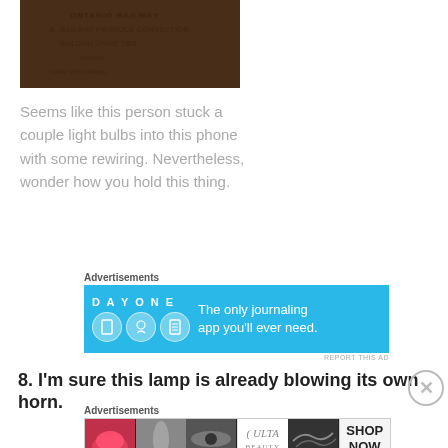[Figure (photo): Photo of a wooden crate or box with text stamped on it, dark brown tones]
Seems like this person stuck a couple light bulbs into this phone with some rewiring. Nevertheless, wonder how you hold this thing.
Advertisements
[Figure (screenshot): Day One journaling app advertisement banner with blue background, app icons, and text 'The only journaling app you'll ever need.']
8. I'm sure this lamp is already blowing its own horn.
Advertisements
[Figure (screenshot): Ulta beauty advertisement banner with makeup images and 'SHOP NOW' text]